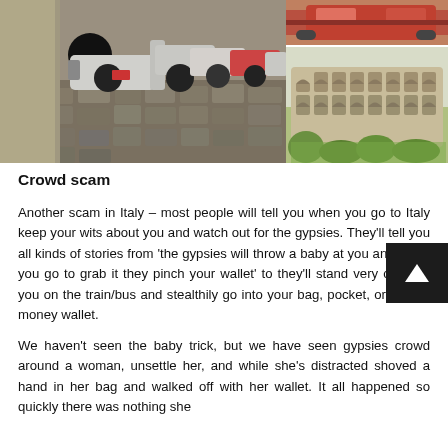[Figure (photo): Left: Row of scooters/Vespas parked on cobblestone street in Italy. Right top: Red/orange vintage car or scooter detail. Right bottom: The Colosseum in Rome with green trees in foreground.]
Crowd scam
Another scam in Italy – most people will tell you when you go to Italy keep your wits about you and watch out for the gypsies. They'll tell you all kinds of stories from 'the gypsies will throw a baby at you and when you go to grab it they pinch your wallet' to they'll stand very close to you on the train/bus and stealthily go into your bag, pocket, or hidden money wallet.
We haven't seen the baby trick, but we have seen gypsies crowd around a woman, unsettle her, and while she's distracted shoved a hand in her bag and walked off with her wallet. It all happened so quickly there was nothing she